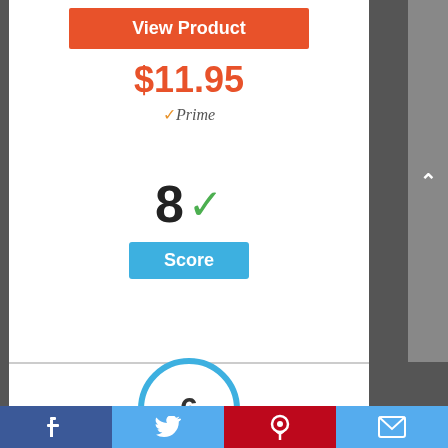View Product
$11.95
✓Prime
[Figure (infographic): Score badge showing number 8 with a green checkmark, and a blue label reading 'Score']
[Figure (infographic): Circle badge with number 6 inside, outlined in blue]
Facebook | Twitter | Pinterest | Email